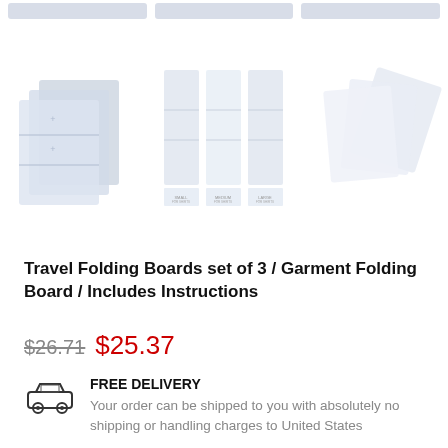[Figure (screenshot): Top navigation bar with three grey pill-shaped buttons]
[Figure (photo): Three product thumbnail images of Travel Folding Boards set of 3 / Garment Folding Board: left shows blue folding boards stacked, center shows boards with labels, right shows boards spread out]
Travel Folding Boards set of 3 / Garment Folding Board / Includes Instructions
$26.71 $25.37
FREE DELIVERY
Your order can be shipped to you with absolutely no shipping or handling charges to United States